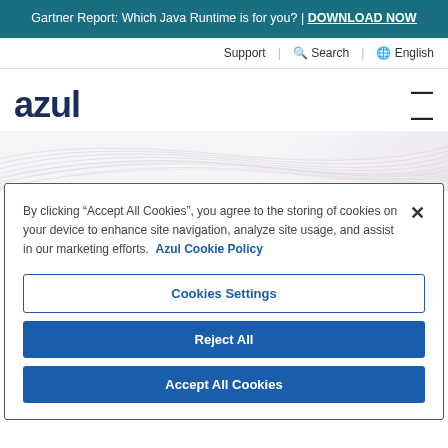Gartner Report: Which Java Runtime is for you? | DOWNLOAD NOW
Support | Search | English
[Figure (logo): Azul company logo in dark navy text]
[Figure (illustration): Abstract wave lines decorative hero banner area]
By clicking “Accept All Cookies”, you agree to the storing of cookies on your device to enhance site navigation, analyze site usage, and assist in our marketing efforts. Azul Cookie Policy
Cookies Settings
Reject All
Accept All Cookies